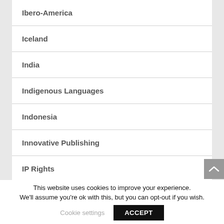Ibero-America
Iceland
India
Indigenous Languages
Indonesia
Innovative Publishing
IP Rights
This website uses cookies to improve your experience. We'll assume you're ok with this, but you can opt-out if you wish.
Cookie settings
ACCEPT